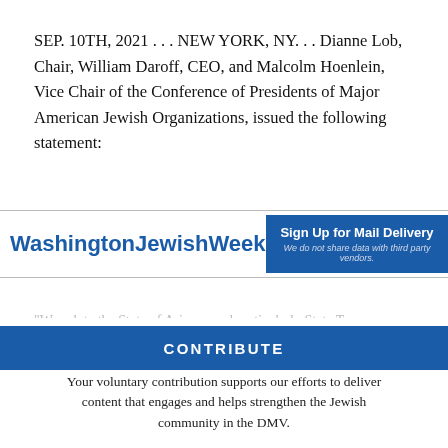SEP. 10TH, 2021 . . . NEW YORK, NY. . . Dianne Lob, Chair, William Daroff, CEO, and Malcolm Hoenlein, Vice Chair of the Conference of Presidents of Major American Jewish Organizations, issued the following statement:
[Figure (other): Washington Jewish Week advertisement banner with logo on left and 'Sign Up for Mail Delivery' button on right. Tagline: 'We do not share data with third party vendors.']
"We salute the State of Arizona and particularly State Treasurer Kimberly Yee for acting to divest state pension fund of all investments in the multinational corporation Unilever 2, the response to Ben & Jerry's decision to cease operations with Israeli licensee because they refused to engage in a boycott communities in the West Bank area 3Arizona had already reduced
WASHINGTON JEWISH WEEK IS HERE FOR YOU
Your voluntary contribution supports our efforts to deliver content that engages and helps strengthen the Jewish community in the DMV.
CONTRIBUTE